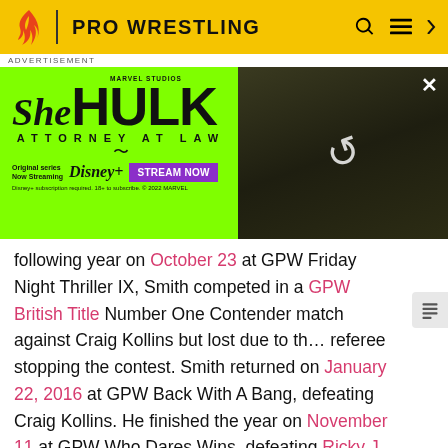PRO WRESTLING
[Figure (photo): She-Hulk Attorney at Law advertisement banner with green background and image of She-Hulk character. Includes Disney+ logo and 'STREAM NOW' button.]
following year on October 23 at GPW Friday Night Thriller IX, Smith competed in a GPW British Title Number One Contender match against Craig Kollins but lost due to the referee stopping the contest. Smith returned on January 22, 2016 at GPW Back With A Bang, defeating Craig Kollins. He finished the year on November 11 at GPW Who Dares Wins, defeating Ricky J. McKenzie. Returning on February 10, 2017 at GPW Back With A Bang, Smith defeated reigning GPW Heavyweight Champion Dylan Roberts but